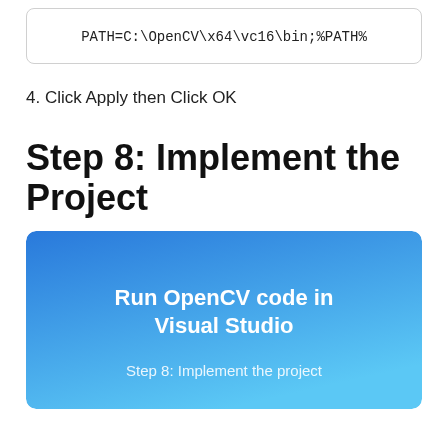PATH=C:\OpenCV\x64\vc16\bin;%PATH%
4. Click Apply then Click OK
Step 8: Implement the Project
[Figure (infographic): Blue gradient banner with white bold title 'Run OpenCV code in Visual Studio' and subtitle 'Step 8: Implement the project']